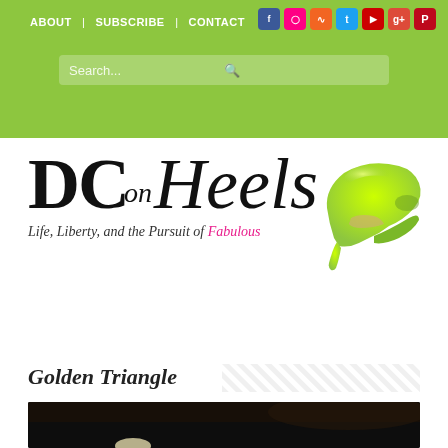ABOUT | SUBSCRIBE | CONTACT
[Figure (logo): DC on Heels blog logo with neon green high heel shoe. Tagline: Life, Liberty, and the Pursuit of Fabulous]
— Main Menu —
Golden Triangle
[Figure (photo): Dark photograph showing a dim light or candle glow at the bottom, nearly black background]